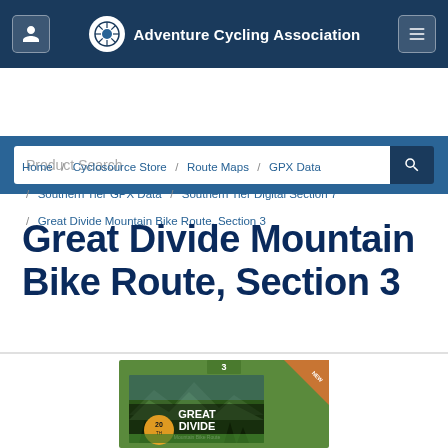Adventure Cycling Association
Product Search
Home / Cyclosource Store / Route Maps / GPX Data / Southern Tier GPX Data / Southern Tier Digital Section 7 / Great Divide Mountain Bike Route, Section 3
Great Divide Mountain Bike Route, Section 3
[Figure (photo): Product image of Great Divide Mountain Bike Route Section 3 map cover showing mountains, forest, and a 20th anniversary badge]